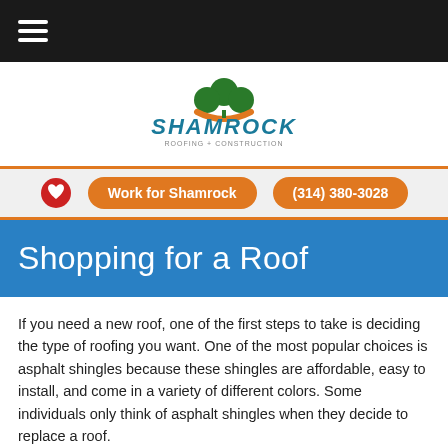Navigation menu
[Figure (logo): Shamrock Roofing logo with green shamrock icon and orange arc, with stylized 'SHAMROCK' text in blue/teal below]
Work for Shamrock   (314) 380-3028
Shopping for a Roof
If you need a new roof, one of the first steps to take is deciding the type of roofing you want. One of the most popular choices is asphalt shingles because these shingles are affordable, easy to install, and come in a variety of different colors. Some individuals only think of asphalt shingles when they decide to replace a roof.
However, slate, tile, and metal are some of the other available options. These options are especially great if you plan to be in the